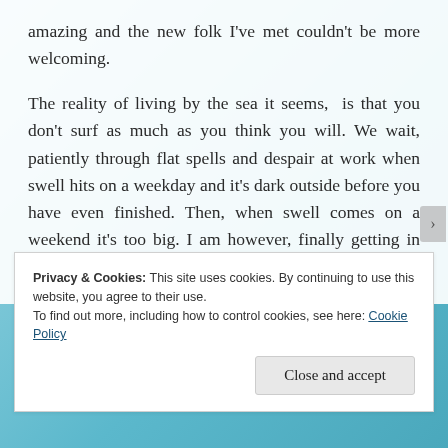amazing and the new folk I've met couldn't be more welcoming.

The reality of living by the sea it seems,  is that you don't surf as much as you think you will. We wait, patiently through flat spells and despair at work when swell hits on a weekday and it's dark outside before you have even finished. Then, when swell comes on a weekend it's too big. I am however, finally getting in tomorrow with my new board.
Privacy & Cookies: This site uses cookies. By continuing to use this website, you agree to their use.
To find out more, including how to control cookies, see here: Cookie Policy
Close and accept